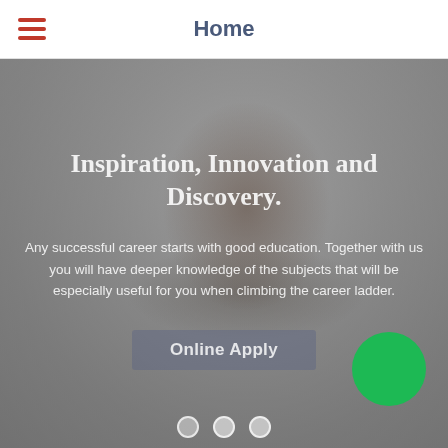Home
Inspiration, Innovation and Discovery.
Any successful career starts with good education. Together with us you will have deeper knowledge of the subjects that will be especially useful for you when climbing the career ladder.
Online Apply
[Figure (photo): Background photo of a young man, with a semi-transparent gray overlay. A green circle button appears in the bottom right corner. Three dot navigation indicators are visible at the bottom center.]